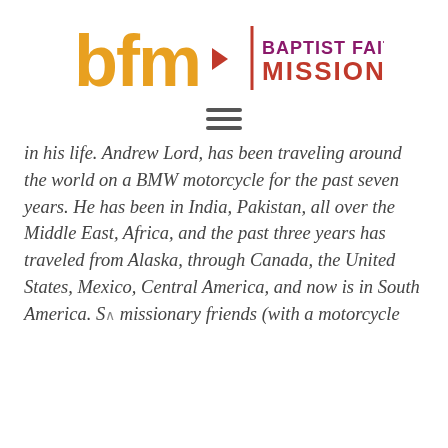[Figure (logo): Baptist Faith Missions logo with 'bfm' in orange/gold lettering with a red arrow, a vertical red divider line, and 'BAPTIST FAITH MISSIONS' text in purple and red]
[Figure (other): Hamburger menu icon with three horizontal lines]
in his life. Andrew Lord, has been traveling around the world on a BMW motorcycle for the past seven years. He has been in India, Pakistan, all over the Middle East, Africa, and the past three years has traveled from Alaska, through Canada, the United States, Mexico, Central America, and now is in South America. So missionary friends (with a motorcycle